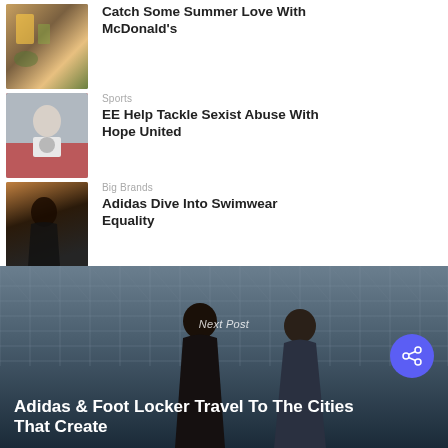[Figure (photo): Thumbnail image of outdoor scene with yellow/green tones]
Catch Some Summer Love With McDonald's
[Figure (photo): Thumbnail of footballer in white shirt holding ball, red crowd in background]
Sports
EE Help Tackle Sexist Abuse With Hope United
[Figure (photo): Thumbnail of woman wearing black hijab in profile against warm background]
Big Brands
Adidas Dive Into Swimwear Equality
[Figure (photo): Background photo of two young men standing against chain-link fence, dark urban setting]
Next Post
Adidas & Foot Locker Travel To The Cities That Create